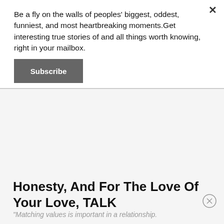Be a fly on the walls of peoples' biggest, oddest, funniest, and most heartbreaking moments.Get interesting true stories of and all things worth knowing, right in your mailbox.
Subscribe
[Figure (other): Gray rectangular content area / advertisement placeholder below the subscription popup]
Honesty, And For The Love Of Your Love, TALK
"Matching values is important in a relationship.